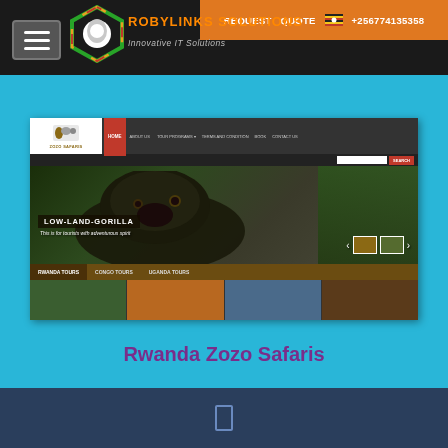ROBYLINKS SOLUTIONS - Innovative IT Solutions | REQUEST QUOTE +256774135358
[Figure (screenshot): Screenshot of Rwanda Zozo Safaris website showing navigation bar with Home, About Us, Tour Programs, Terms and Condition, Book, Contact Us links, a hero image of a low-land gorilla with text 'LOW-LAND-GORILLA - This is for tourists with adventurous spirit', thumbnail carousel, Rwanda Tours, Congo Tours, Uganda Tours tabs, and a gallery row of wildlife and people images at the bottom.]
Rwanda Zozo Safaris